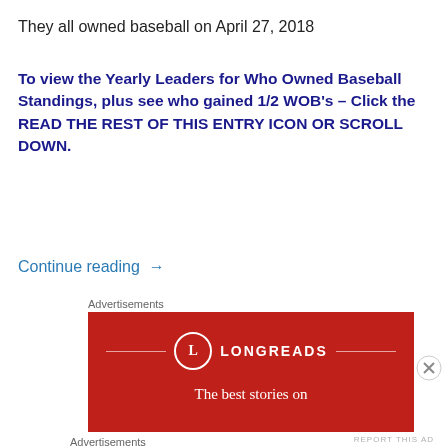They all owned baseball on April 27, 2018
To view the Yearly Leaders for Who Owned Baseball Standings, plus see who gained 1/2 WOB's – Click the READ THE REST OF THIS ENTRY ICON OR SCROLL DOWN.
Continue reading →
Advertisements
[Figure (other): Longreads advertisement banner with red background. Shows the Longreads logo (letter L in circle) with the text 'LONGREADS' and 'The best stories on' below.]
Advertisements